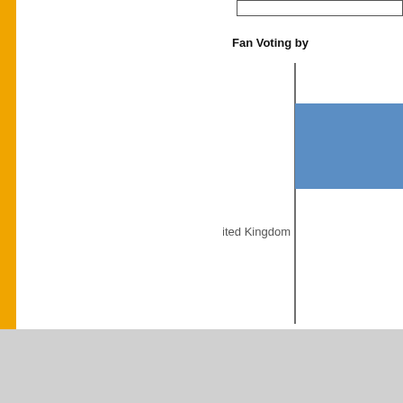[Figure (bar-chart): Fan Voting by...]